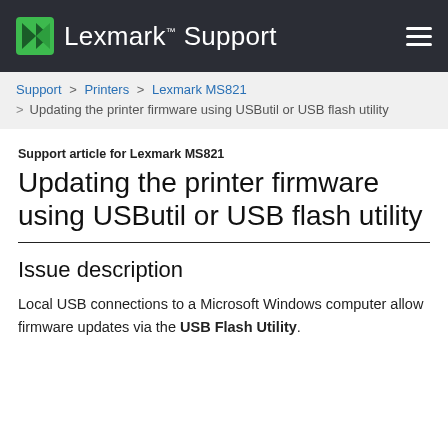Lexmark™ Support
Support > Printers > Lexmark MS821 > Updating the printer firmware using USButil or USB flash utility
Support article for Lexmark MS821
Updating the printer firmware using USButil or USB flash utility
Issue description
Local USB connections to a Microsoft Windows computer allow firmware updates via the USB Flash Utility.